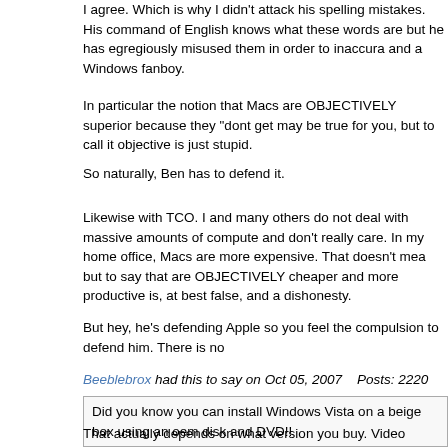I agree. Which is why I didn't attack his spelling mistakes. His command of English is fine, he knows what these words are but he has egregiously misused them in order to inaccurately portray Macs and a Windows fanboy.
In particular the notion that Macs are OBJECTIVELY superior because they "dont ge" may be true for you, but to call it objective is just stupid.
So naturally, Ben has to defend it.
Likewise with TCO. I and many others do not deal with massive amounts of computers and don't really care. In my home office, Macs are more expensive. That doesn't mean but to say that are OBJECTIVELY cheaper and more productive is, at best false, and a dishonesty.
But hey, he's defending Apple so you feel the compulsion to defend him. There is no
Beeblebrox had this to say on Oct 05, 2007   Posts: 2220
Did you know you can install Windows Vista on a beige box using an oem disk and DVD!!
That actually depends on what version you buy. Video codecs cost money. Vista Home the codecs to play a DVD, but every other version of Vista comes with it so those do p Premium, Business, Ultimate… all can play DVDs out of the box. Of course, I don't s in many places at retail, and preinstalled on computers. Basic seems limited to comp